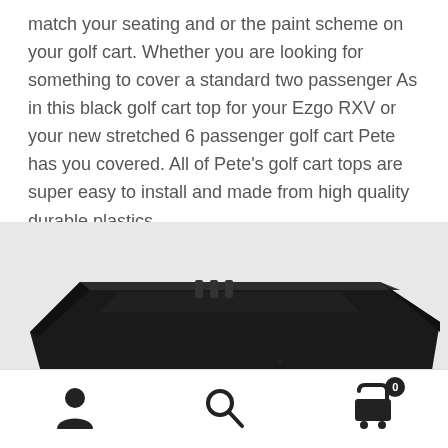match your seating and or the paint scheme on your golf cart. Whether you are looking for something to cover a standard two passenger As in this black golf cart top for your Ezgo RXV or your new stretched 6 passenger golf cart Pete has you covered. All of Pete's golf cart tops are super easy to install and made from high quality durable plastics.
[Figure (photo): Close-up photo of a black plastic golf cart top/roof panel, showing the edge and mounting hardware, viewed from a low angle against a white background.]